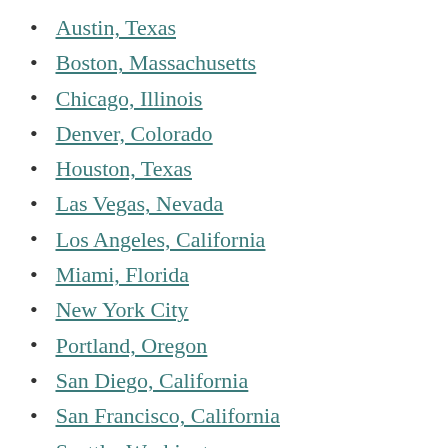Austin, Texas
Boston, Massachusetts
Chicago, Illinois
Denver, Colorado
Houston, Texas
Las Vegas, Nevada
Los Angeles, California
Miami, Florida
New York City
Portland, Oregon
San Diego, California
San Francisco, California
Seattle, Washington
Washington DC